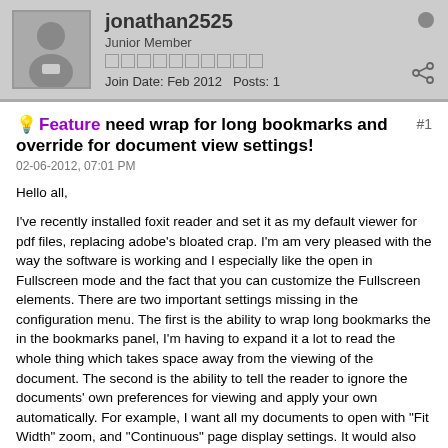jonathan2525 | Junior Member | Join Date: Feb 2012 | Posts: 1
Feature need wrap for long bookmarks and override for document view settings!
02-06-2012, 07:01 PM
Hello all,

I've recently installed foxit reader and set it as my default viewer for pdf files, replacing adobe's bloated crap. I'm am very pleased with the way the software is working and I especially like the open in Fullscreen mode and the fact that you can customize the Fullscreen elements. There are two important settings missing in the configuration menu. The first is the ability to wrap long bookmarks the in the bookmarks panel, I'm having to expand it a lot to read the whole thing which takes space away from the viewing of the document. The second is the ability to tell the reader to ignore the documents' own preferences for viewing and apply your own automatically. For example, I want all my documents to open with "Fit Width" zoom, and "Continuous" page display settings. It would also be nice if the page display settings is available from the context menu inside the document (or keyboard shortcut) and not only on the view menu; since I open in Fullscreen I have to press F11 then click View > Page Display > Continuous... At least